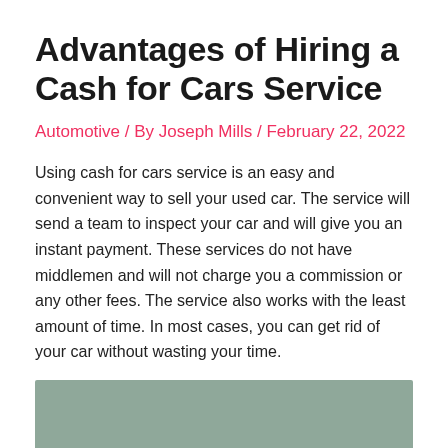Advantages of Hiring a Cash for Cars Service
Automotive / By Joseph Mills / February 22, 2022
Using cash for cars service is an easy and convenient way to sell your used car. The service will send a team to inspect your car and will give you an instant payment. These services do not have middlemen and will not charge you a commission or any other fees. The service also works with the least amount of time. In most cases, you can get rid of your car without wasting your time.
Remove Your Old Car and Get a Fair Price
[Figure (photo): A muted green/gray rectangular photo area at the bottom of the page, partially visible]